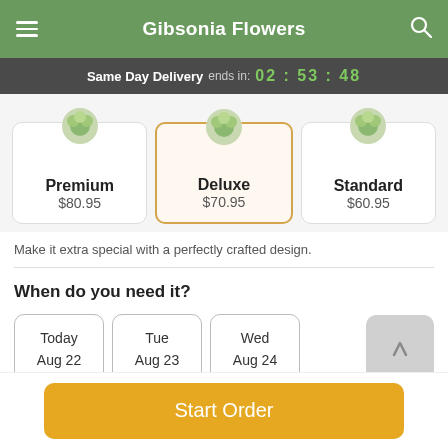Gibsonia Flowers
Same Day Delivery ends in: 02 : 53 : 48
| Option | Name | Price |
| --- | --- | --- |
|  | Premium | $80.95 |
| selected | Deluxe | $70.95 |
|  | Standard | $60.95 |
Make it extra special with a perfectly crafted design.
When do you need it?
Today Aug 22
Tue Aug 23
Wed Aug 24
Start Order